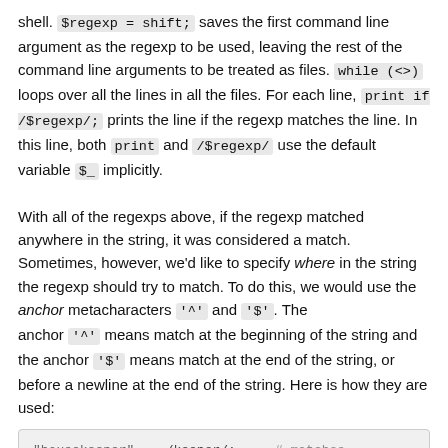shell. $regexp = shift; saves the first command line argument as the regexp to be used, leaving the rest of the command line arguments to be treated as files. while (<>) loops over all the lines in all the files. For each line, print if /$regexp/; prints the line if the regexp matches the line. In this line, both print and /$regexp/ use the default variable $_ implicitly.
With all of the regexps above, if the regexp matched anywhere in the string, it was considered a match. Sometimes, however, we'd like to specify where in the string the regexp should try to match. To do this, we would use the anchor metacharacters '^' and '$'. The anchor '^' means match at the beginning of the string and the anchor '$' means match at the end of the string, or before a newline at the end of the string. Here is how they are used:
[Figure (screenshot): Code block showing: "housekeeper" =~ /keeper/; # matches, "housekeeper" =~ /^keeper/; # doesn't match, "housekeeper" =~ /keeper$/; # matches]